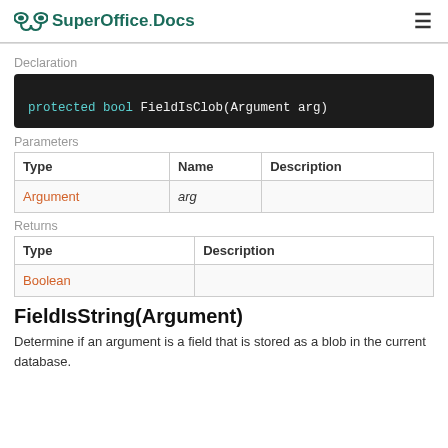SuperOffice.Docs
Declaration
protected bool FieldIsClob(Argument arg)
Parameters
| Type | Name | Description |
| --- | --- | --- |
| Argument | arg |  |
Returns
| Type | Description |
| --- | --- |
| Boolean |  |
FieldIsString(Argument)
Determine if an argument is a field that is stored as a blob in the current database.